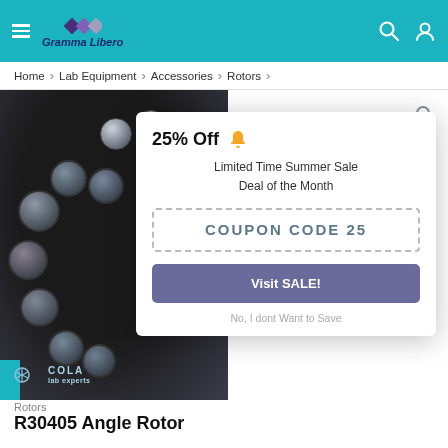Gramma Libero
Home > Lab Equipment > Accessories > Rotors >
[Figure (photo): Close-up photo of a laboratory centrifuge rotor (black disc) with multiple clear/translucent microcentrifuge tube caps inserted, with Cola lab experts logo watermark]
25% Off
Limited Time Summer Sale
Deal of the Month
COUPON CODE 25
Visit SALE!
No, I dont Want to Save
Rotors
R30405 Angle Rotor